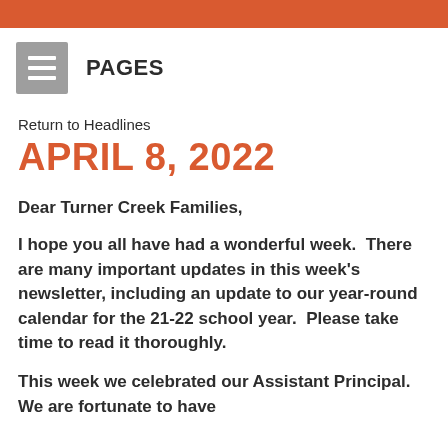[Figure (other): Navigation bar with hamburger menu icon and PAGES label]
Return to Headlines
APRIL 8, 2022
Dear Turner Creek Families,
I hope you all have had a wonderful week.  There are many important updates in this week's newsletter, including an update to our year-round calendar for the 21-22 school year.  Please take time to read it thoroughly.
This week we celebrated our Assistant Principal. We are fortunate to have